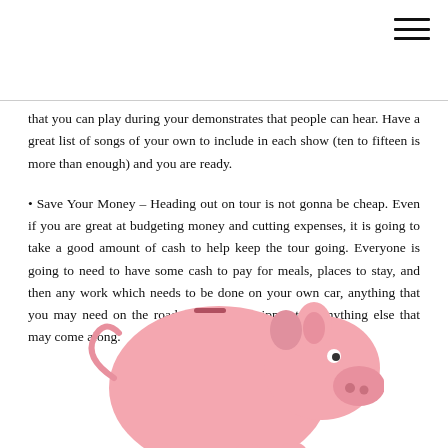that you can play during your demonstrates that people can hear. Have a great list of songs of your own to include in each show (ten to fifteen is more than enough) and you are ready.
• Save Your Money – Heading out on tour is not gonna be cheap. Even if you are great at budgeting money and cutting expenses, it is going to take a good amount of cash to help keep the tour going. Everyone is going to need to have some cash to pay for meals, places to stay, and then any work which needs to be done on your own car, anything that you may need on the road, replacing equipment or anything else that may come along.
[Figure (illustration): Pink piggy bank illustration, partially visible at the bottom of the page]